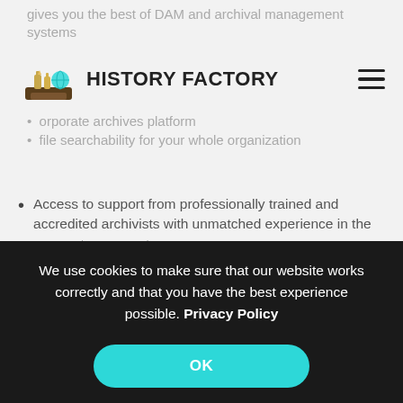gives you the best of DAM and archival management systems
[Figure (logo): History Factory logo — small illustration of bottles and a globe on a wooden platform, with text HISTORY FACTORY]
file searchability for your whole organization
Access to support from professionally trained and accredited archivists with unmatched experience in the corporate segment
The fastest way to realize ROI on your archives through quick and unfettered access to your materials for a variety of uses
We use cookies to make sure that our website works correctly and that you have the best experience possible. Privacy Policy
OK